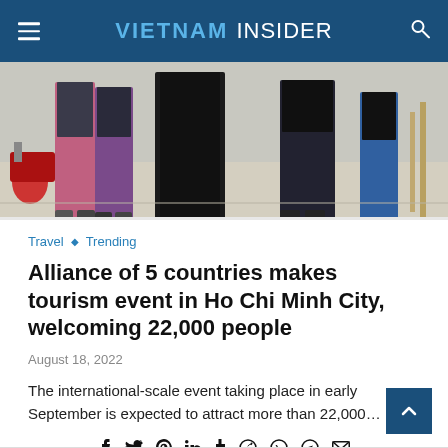VIETNAM INSIDER
[Figure (photo): People walking on a street, wearing colorful patterned pants and black clothing, with a motorcycle visible on the left side.]
Travel ◇ Trending
Alliance of 5 countries makes tourism event in Ho Chi Minh City, welcoming 22,000 people
August 18, 2022
The international-scale event taking place in early September is expected to attract more than 22,000…